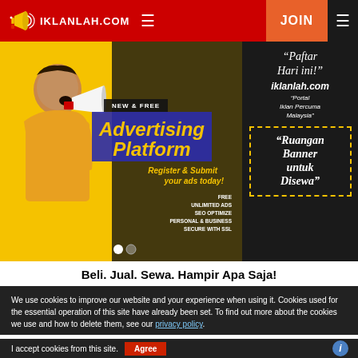IKLANLAH.COM — JOIN
[Figure (screenshot): Advertising banner with man holding megaphone on yellow background. Text: NEW & FREE Advertising Platform. Register & Submit your ads today! FREE UNLIMITED ADS SEO OPTIMIZE PERSONAL & BUSINESS SECURE WITH SSL]
[Figure (infographic): Side panel black background: "Paftar Hari ini!" iklanlah.com "Portal Iklan Percuma Malaysia" | Dashed yellow border box: "Ruangan Banner untuk Disewa"]
Beli. Jual. Sewa. Hampir Apa Saja!
We use cookies to improve our website and your experience when using it. Cookies used for the essential operation of this site have already been set. To find out more about the cookies we use and how to delete them, see our privacy policy.
I accept cookies from this site. Agree